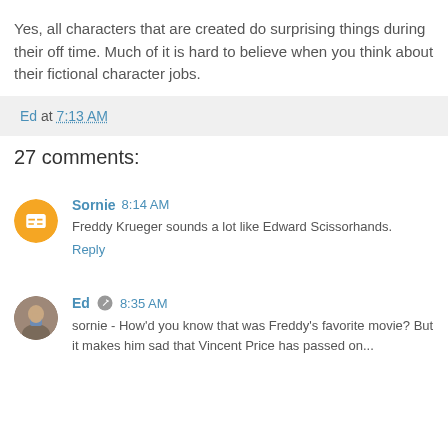Yes, all characters that are created do surprising things during their off time. Much of it is hard to believe when you think about their fictional character jobs.
Ed at 7:13 AM
27 comments:
Sornie 8:14 AM
Freddy Krueger sounds a lot like Edward Scissorhands.
Reply
Ed 8:35 AM
sornie - How'd you know that was Freddy's favorite movie? But it makes him sad that Vincent Price has passed on...